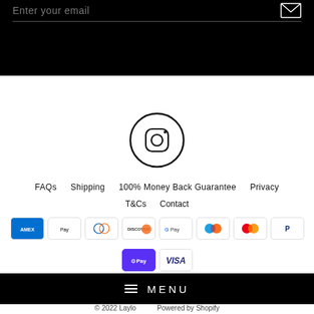Enter your email
[Figure (illustration): Instagram icon — circle with rounded square camera outline inside]
FAQs   Shipping   100% Money Back Guarantee   Privacy
T&Cs   Contact
[Figure (illustration): Payment method badges: Amex, Apple Pay, Diners Club, Discover, Google Pay, Maestro, Mastercard, PayPal, Shop Pay, Visa]
MENU
© 2022 Laylo   Powered by Shopify